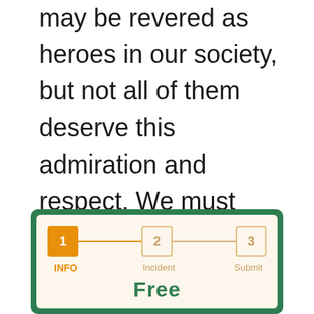may be revered as heroes in our society, but not all of them deserve this admiration and respect. We must hold predatory physicians accountable for their crimes, and demand more from the institutions which turn a blind eye.
[Figure (infographic): A multi-step form widget with a green outer border and cream inner background. Shows step 1 (INFO) highlighted in orange, step 2 (Incident) and step 3 (Submit) in muted gold. A horizontal line connects the steps. Below the steps is the beginning of text reading 'Free'.]